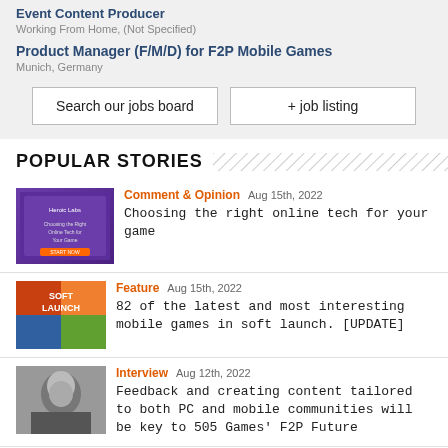Event Content Producer
Working From Home, (Not Specified)
Product Manager (F/M/D) for F2P Mobile Games
Munich, Germany
Search our jobs board
+ job listing
POPULAR STORIES
Comment & Opinion  Aug 15th, 2022  Choosing the right online tech for your game
Feature  Aug 15th, 2022  82 of the latest and most interesting mobile games in soft launch. [UPDATE]
Interview  Aug 12th, 2022  Feedback and creating content tailored to both PC and mobile communities will be key to 505 Games' F2P Future
Feature  Aug 17th, 2022  52 of the latest and most interesting mobile games